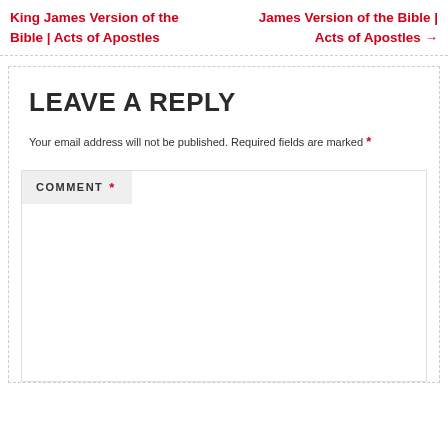King James Version of the Bible | Acts of Apostles
James Version of the Bible | Acts of Apostles →
LEAVE A REPLY
Your email address will not be published. Required fields are marked *
COMMENT *